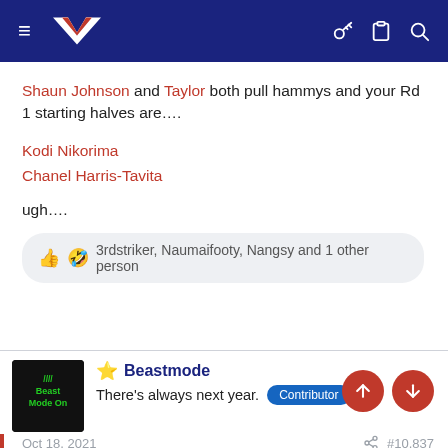NZ Warriors forum navigation bar
Shaun Johnson and Taylor both pull hammys and your Rd 1 starting halves are….
Kodi Nikorima
Chanel Harris-Tavita
ugh….
👍 🤣 3rdstriker, Naumaifooty, Nangsy and 1 other person
⭐ Beastmode
There's always next year. Contributor
Oct 18, 2021  #10,837